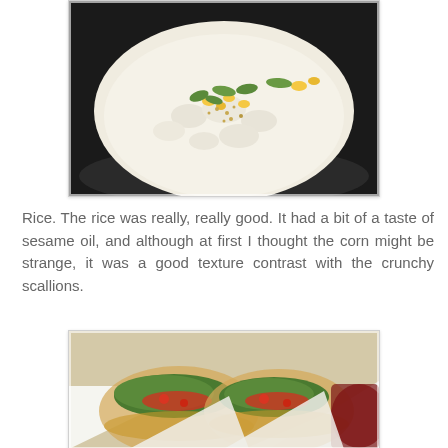[Figure (photo): A bowl of white rice topped with corn, scallions, and sesame seeds in a dark container]
Rice. The rice was really, really good. It had a bit of a taste of sesame oil, and although at first I thought the corn might be strange, it was a good texture contrast with the crunchy scallions.
[Figure (photo): Two tacos filled with lettuce, red sauce, and garnishes wrapped in white paper, with a side dish visible in the background]